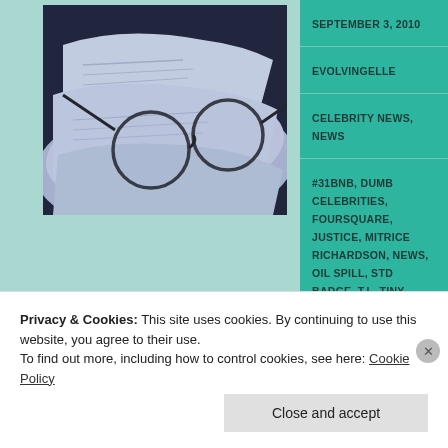[Figure (photo): Photo of a folded newspaper with round wire-rimmed glasses resting on top, in blue-tinted monochromatic tones]
SEPTEMBER 3, 2010
EVOLVINGELLE
CELEBRITY NEWS, NEWS
#31BNB, DUMB CELEBRITIES, FOURSQUARE, JUSTICE, MITRICE RICHARDSON, NEWS, OIL SPILL, STD BADGE, T.I., TINY
Privacy & Cookies: This site uses cookies. By continuing to use this website, you agree to their use.
To find out more, including how to control cookies, see here: Cookie Policy
Close and accept